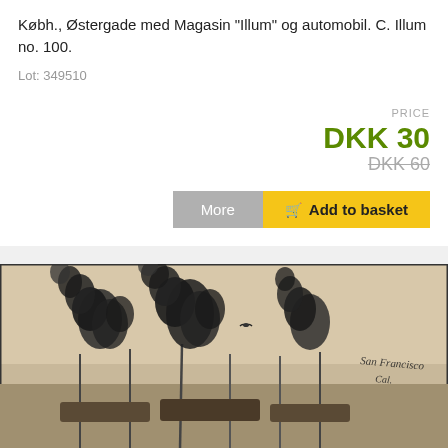Købh., Østergade med Magasin "Illum" og automobil. C. Illum no. 100.
Lot: 349510
PRICE
DKK 30
DKK 60
More
🛒 Add to basket
[Figure (photo): Black and white photograph showing ships with large plumes of dark smoke rising, a bird or aircraft visible in the sky, and handwritten text on the right side reading 'San Francisco Cal.']